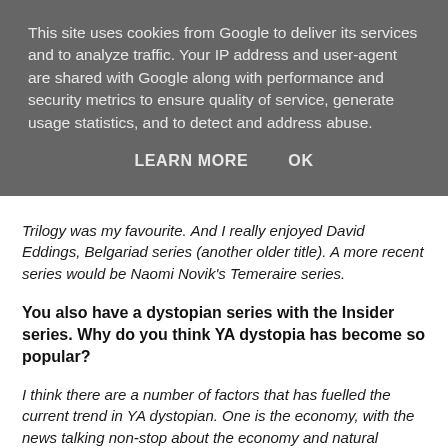This site uses cookies from Google to deliver its services and to analyze traffic. Your IP address and user-agent are shared with Google along with performance and security metrics to ensure quality of service, generate usage statistics, and to detect and address abuse.
LEARN MORE   OK
Trilogy was my favourite. And I really enjoyed David Eddings, Belgariad series (another older title). A more recent series would be Naomi Novik's Temeraire series.
You also have a dystopian series with the Insider series. Why do you think YA dystopia has become so popular?
I think there are a number of factors that has fuelled the current trend in YA dystopian. One is the economy, with the news talking non-stop about the economy and natural disasters, a reader can take some comfort that things could be much worse than they are. Also if you think about it, high school is a thinly disguised dystopia—students are subject to dress codes, constantly being watched, and required to